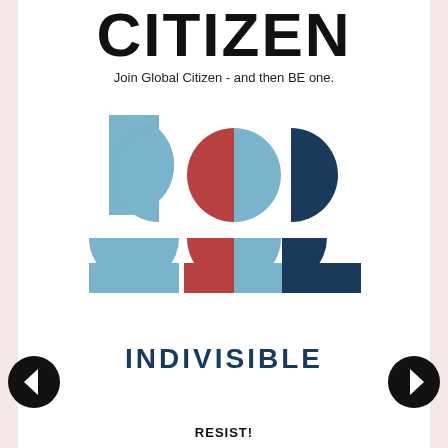CITIZEN
Join Global Citizen - and then BE one.
[Figure (logo): Indivisible organization logo: geometric shapes representing stylized people figures in blue and red/maroon tones arranged in a 2x3 grid of semicircles and quarter-circles]
INDIVISIBLE
RESIST!